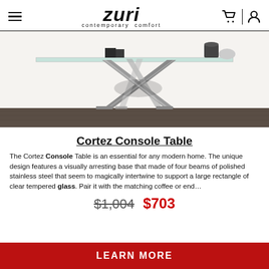Zuri contemporary comfort
[Figure (photo): A modern console table with a clear tempered glass top supported by an x-shaped polished stainless steel base with multiple crossing beams, displayed against a white wall on a dark wood floor with decorative items on top.]
Cortez Console Table
The Cortez Console Table is an essential for any modern home. The unique design features a visually arresting base that made of four beams of polished stainless steel that seem to magically intertwine to support a large rectangle of clear tempered glass. Pair it with the matching coffee or end…
$1,004  $703
LEARN MORE